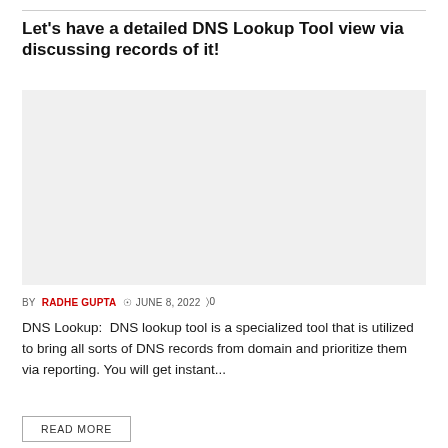Let's have a detailed DNS Lookup Tool view via discussing records of it!
[Figure (other): Placeholder image area with light gray background]
BY RADHE GUPTA  © JUNE 8, 2022  ⌀0
DNS Lookup:  DNS lookup tool is a specialized tool that is utilized to bring all sorts of DNS records from domain and prioritize them via reporting. You will get instant...
READ MORE